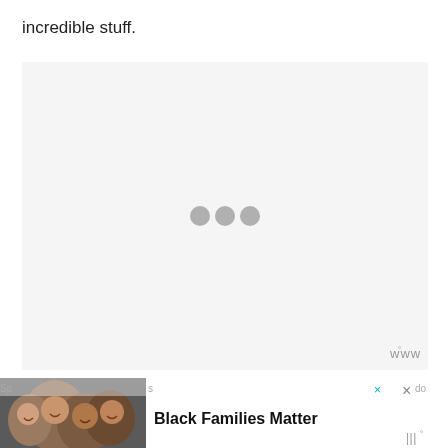incredible stuff.
[Figure (other): Embedded content placeholder box with light gray background and three gray loading dots in the center, with a WW logo watermark in the bottom right corner]
[Figure (photo): Advertisement banner showing smiling family faces on the left side, with 'Black Families Matter' text in bold, close/dismiss buttons (x), and WW logo. Partially visible sponsored label text on sides.]